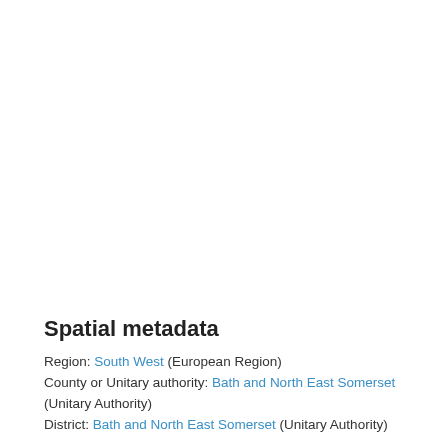Spatial metadata
Region: South West (European Region)
County or Unitary authority: Bath and North East Somerset (Unitary Authority)
District: Bath and North East Somerset (Unitary Authority)